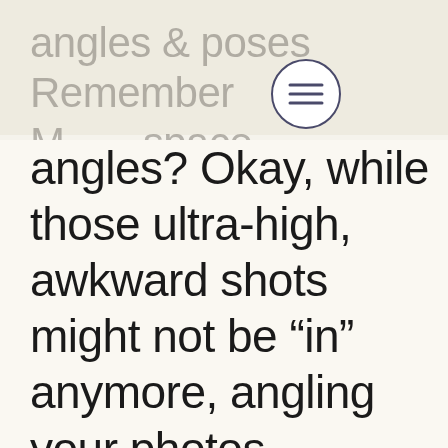angles & poses
Remember Myspace
angles? Okay, while those ultra-high, awkward shots might not be “in” anymore, angling your photos correctly can make a